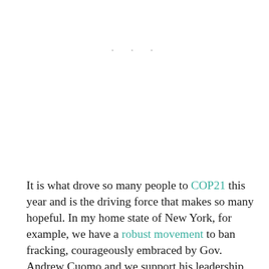[Figure (other): Blank white image area with three faint light-gray dots near the top center, representing a placeholder or image that did not load.]
It is what drove so many people to COP21 this year and is the driving force that makes so many hopeful. In my home state of New York, for example, we have a robust movement to ban fracking, courageously embraced by Gov. Andrew Cuomo and we support his leadership on renewable energy. We have found a new